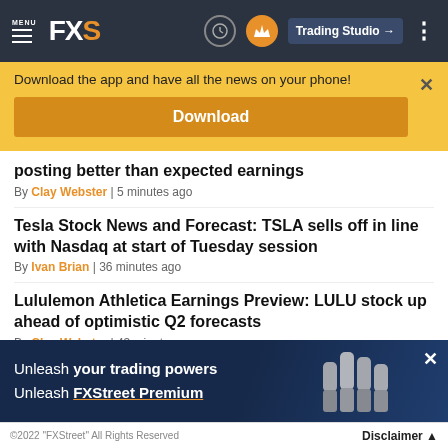MENU FXS | Trading Studio
Download the app and have all the news on your phone!
Download
posting better than expected earnings
By Clay Webster | 5 minutes ago
Tesla Stock News and Forecast: TSLA sells off in line with Nasdaq at start of Tuesday session
By Ivan Brian | 36 minutes ago
Lululemon Athletica Earnings Preview: LULU stock up ahead of optimistic Q2 forecasts
By Clay Webster | 43 minutes ago
[Figure (infographic): Ad banner: Unleash your trading powers / Unleash FXStreet Premium with raised fists on dark blue background]
©2022 "FXStreet" All Rights Reserved | Disclaimer